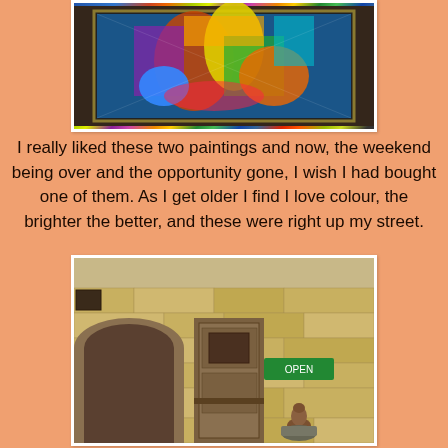[Figure (photo): A colorful abstract painting with bright reds, blues, greens, yellows, and purples, displayed in a dark frame against a wooden background.]
I really liked these two paintings and now, the weekend being over and the opportunity gone, I wish I had bought one of them.  As I get older I find I love colour, the brighter the better, and these were right up my street.
[Figure (photo): An old stone building with a weathered wooden door, stone-block walls, a green sign, and a small brown figurine sculpture sitting on a container in front.]